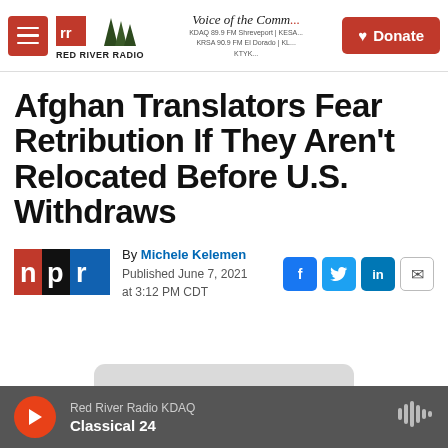Red River Radio — Voice of the Community — Donate
Afghan Translators Fear Retribution If They Aren't Relocated Before U.S. Withdraws
By Michele Kelemen
Published June 7, 2021 at 3:12 PM CDT
Red River Radio KDAQ — Classical 24